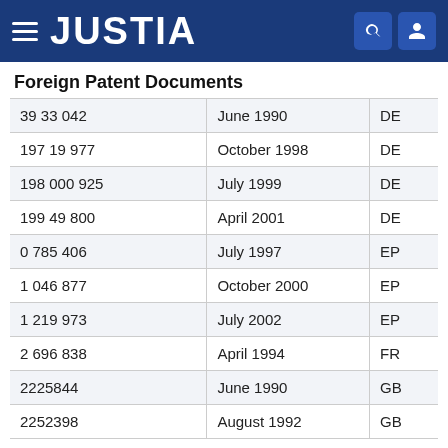JUSTIA
Foreign Patent Documents
| 39 33 042 | June 1990 | DE |
| 197 19 977 | October 1998 | DE |
| 198 000 925 | July 1999 | DE |
| 199 49 800 | April 2001 | DE |
| 0 785 406 | July 1997 | EP |
| 1 046 877 | October 2000 | EP |
| 1 219 973 | July 2002 | EP |
| 2 696 838 | April 1994 | FR |
| 2225844 | June 1990 | GB |
| 2252398 | August 1992 | GB |